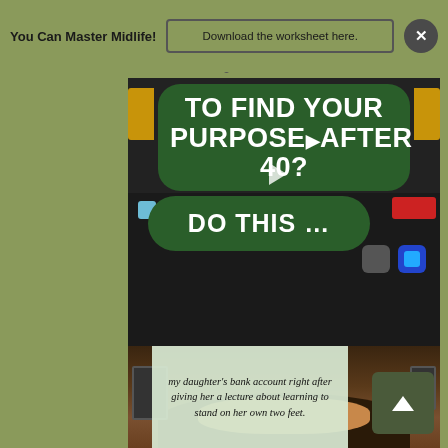You Can Master Midlife! | Download the worksheet here. | ×
[Figure (screenshot): Video thumbnail showing green rounded rectangle with white bold text 'TO FIND YOUR PURPOSE AFTER 40?' and a smaller green pill shape reading 'DO THIS ...' over a laptop/tablet screen background. Play button overlay visible. Yellow accent tabs on sides.]
[Figure (screenshot): Second video frame showing text overlay on light green background reading 'my daughter's bank account right after giving her a lecture about learning to stand on her own two feet.' over a background showing a person with curly hair.]